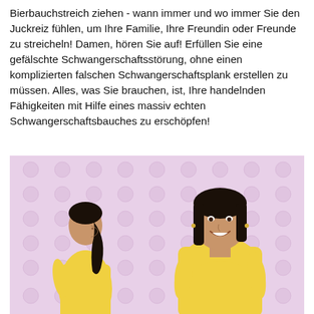Bierbauchstreich ziehen - wann immer und wo immer Sie den Juckreiz fühlen, um Ihre Familie, Ihre Freundin oder Freunde zu streicheln! Damen, hören Sie auf! Erfüllen Sie eine gefälschte Schwangerschaftsstörung, ohne einen komplizierten falschen Schwangerschaftsplank erstellen zu müssen. Alles, was Sie brauchen, ist, Ihre handelnden Fähigkeiten mit Hilfe eines massiv echten Schwangerschaftsbauches zu erschöpfen!
[Figure (photo): Two women wearing yellow tops standing in front of a pink background patterned with cartoon baby/apple faces. The woman on the left is shown from the side with a ponytail. The woman on the right faces forward smiling, with a large pregnant belly visible.]